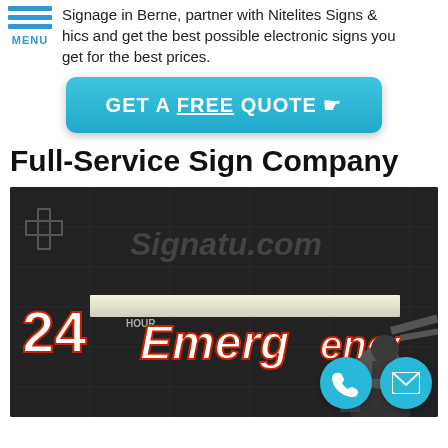Signage in Berne, partner with Nitelites Signs & hics and get the best possible electronic signs you get for the best prices.
GET A FREE QUOTE
Full-Service Sign Company
[Figure (photo): Night photo of a large illuminated sign being installed on a building. The sign reads '24 Hour Emergency' with bright white and red letters. A worker on a lift is visible in the lower right.]